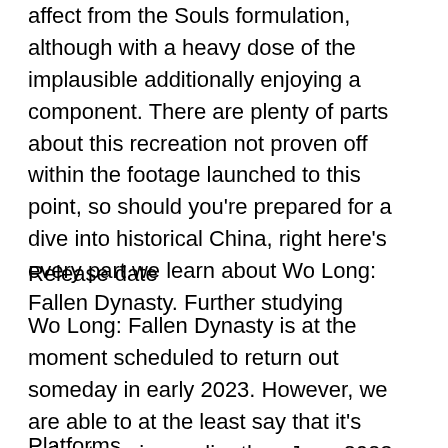affect from the Souls formulation, although with a heavy dose of the implausible additionally enjoying a component. There are plenty of parts about this recreation not proven off within the footage launched to this point, so should you're prepared for a dive into historical China, right here's every part we learn about Wo Long: Fallen Dynasty. Further studying
Release date
Wo Long: Fallen Dynasty is at the moment scheduled to return out someday in early 2023. However, we are able to at the least say that it's going to arrive earlier than June 2023 because it was a part of the Xbox and Bethesda Showcase that listed each recreation introduced as coming inside 12 months.
Platforms